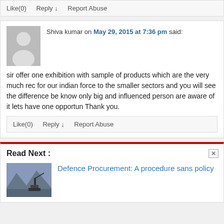Like(0)   Reply ↓   Report Abuse
Shiva kumar on May 29, 2015 at 7:36 pm said:
sir offer one exhibition with sample of products which are the very much rec... for our indian force to the smaller sectors and you will see the difference be... know only big and influenced person are aware of it lets have one opportun... Thank you.
Like(0)   Reply ↓   Report Abuse
Read Next :
Defence Procurement: A procedure sans policy